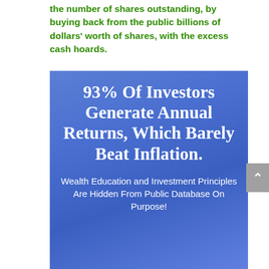the number of shares outstanding, by buying back from the public billions of dollars' worth of shares, with the excess cash hoards.
[Figure (infographic): Blue gradient infographic box containing bold headline '93% Of Investors Generate Annual Returns, Which Barely Beat Inflation.' and subtitle text 'Wealth Education and Investment Principles Are Hidden From Public Database On Purpose!']